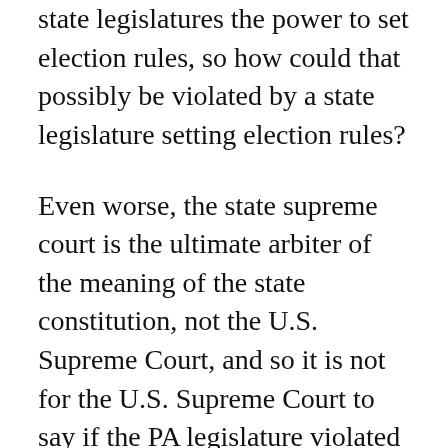state legislatures the power to set election rules, so how could that possibly be violated by a state legislature setting election rules?
Even worse, the state supreme court is the ultimate arbiter of the meaning of the state constitution, not the U.S. Supreme Court, and so it is not for the U.S. Supreme Court to say if the PA legislature violated the PA constitution.
The plaintiff wants an order from the U.S. Supreme Court nullifying the effect of the certification of the electors. It is not clear that this kind of remedy is even available. But I do not expect this case to go anywhere at the Supreme Court.